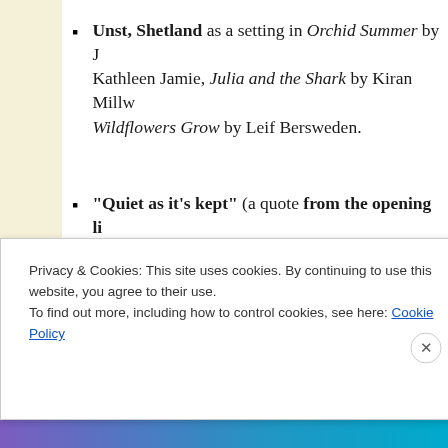Unst, Shetland as a setting in Orchid Summer by J... Kathleen Jamie, Julia and the Shark by Kiran Millw... Wildflowers Grow by Leif Bersweden.
"Quiet as it's kept" (a quote from the opening li... Bluest Eye) is borrowed in a poem in No Country... Julian Aguon and one in the anthology American I... Guide, ed. Susan Barba ("A Siren Patch of Indigo" b...
Privacy & Cookies: This site uses cookies. By continuing to use this website, you agree to their use.
To find out more, including how to control cookies, see here: Cookie Policy